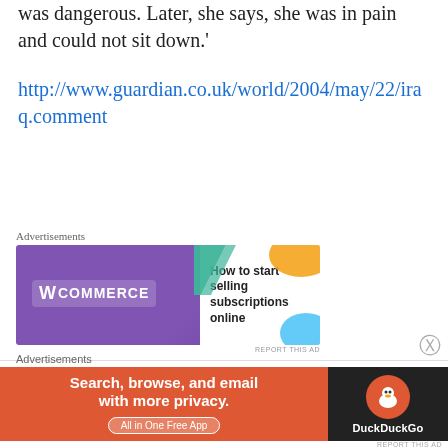was dangerous. Later, she says, she was in pain and could not sit down.'
http://www.guardian.co.uk/world/2004/may/22/iraq.comment
[Figure (other): WooCommerce advertisement banner: purple background with WooCommerce logo, text 'How to start selling subscriptions online', decorative shapes in teal, orange, and blue]
polly on October 15, 2009 at 10:12 pm
Yeah I'm not saying *legit* porn is good, just that we shouldn't celebrate its demise if the reason is it's been replaced by internet porn.
[Figure (other): DuckDuckGo advertisement banner: orange-red left section with text 'Search, browse, and email with more privacy. All in One Free App', dark right section with DuckDuckGo logo]